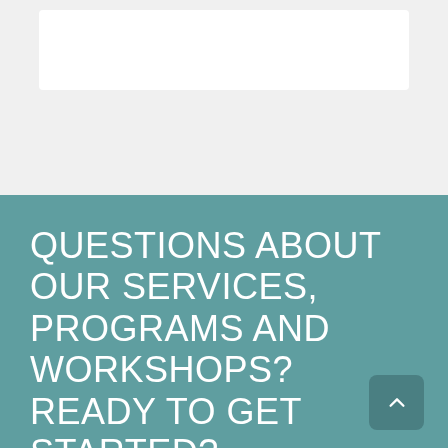[Figure (other): White rectangular box on light gray background at top of page]
QUESTIONS ABOUT OUR SERVICES, PROGRAMS AND WORKSHOPS? READY TO GET STARTED?